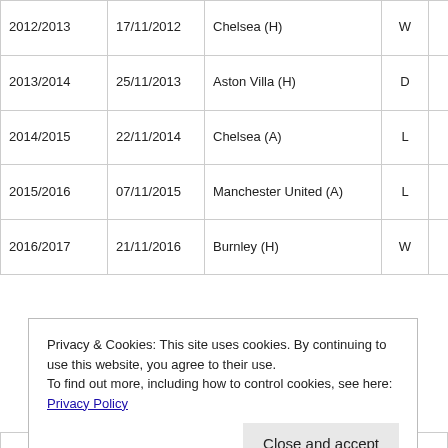| Season | Date | Match | R | Score | Scorers |
| --- | --- | --- | --- | --- | --- |
| 2012/2013 | 17/11/2012 | Chelsea (H) | W | 2-1 | Long, Odemo… |
| 2013/2014 | 25/11/2013 | Aston Villa (H) | D | 2-2 | Long (2) |
| 2014/2015 | 22/11/2014 | Chelsea (A) | L | 0-2 |  |
| 2015/2016 | 07/11/2015 | Manchester United (A) | L | 0-2 |  |
| 2016/2017 | 21/11/2016 | Burnley (H) | W | 4-0 | Phillips, Mo… Rondón |
Privacy & Cookies: This site uses cookies. By continuing to use this website, you agree to their use. To find out more, including how to control cookies, see here: Privacy Policy